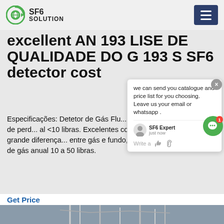SF6 SOLUTION
excellent AN 193 LISE DE QUALIDADE DO G 193 S SF6 detector cost
Especificações: Detetor de Gás Flu... Deteção de gás SF 6. Taxa de perd... al <10 libras. Excelentes condições no necessárias – grande diferença... entre gás e fundo, sem vento. Taxa de perda de gás anual 10 a 50 libras.
Get Price
[Figure (photo): Power transmission towers and infrastructure against cloudy sky]